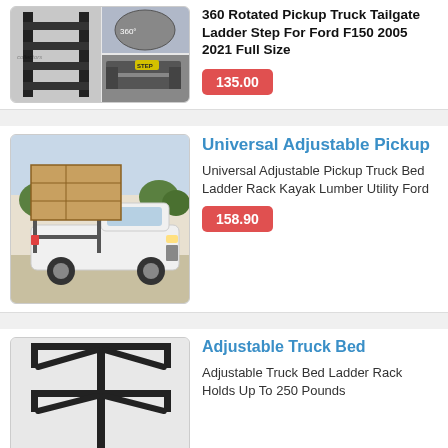[Figure (photo): Collage of pickup truck tailgate ladder step product images]
360 Rotated Pickup Truck Tailgate Ladder Step For Ford F150 2005 2021 Full Size
135.00
[Figure (photo): White pickup truck with a lumber/kayak rack in a parking area]
Universal Adjustable Pickup
Universal Adjustable Pickup Truck Bed Ladder Rack Kayak Lumber Utility Ford
158.90
[Figure (photo): Black adjustable truck bed ladder rack standing alone]
Adjustable Truck Bed
Adjustable Truck Bed Ladder Rack Holds Up To 250 Pounds